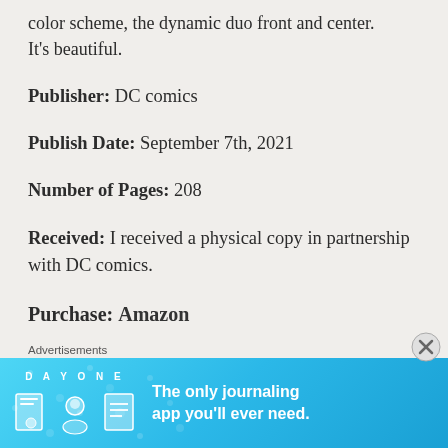color scheme, the dynamic duo front and center. It's beautiful.
Publisher: DC comics
Publish Date: September 7th, 2021
Number of Pages: 208
Received: I received a physical copy in partnership with DC comics.
Purchase: Amazon
Advertisements
[Figure (other): Day One journaling app advertisement banner with blue background, icons, and text 'The only journaling app you'll ever need.']